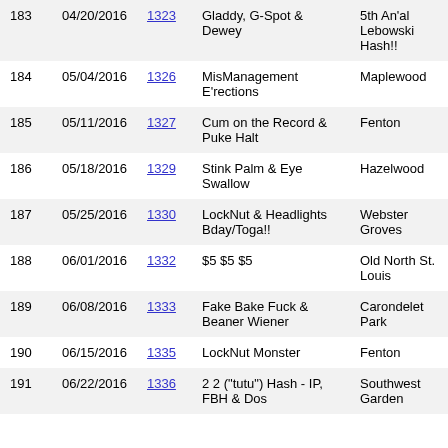| 183 | 04/20/2016 | 1323 | Gladdy, G-Spot & Dewey | 5th An'al Lebowski Hash!! |
| 184 | 05/04/2016 | 1326 | MisManagement E'rections | Maplewood |
| 185 | 05/11/2016 | 1327 | Cum on the Record & Puke Halt | Fenton |
| 186 | 05/18/2016 | 1329 | Stink Palm & Eye Swallow | Hazelwood |
| 187 | 05/25/2016 | 1330 | LockNut & Headlights Bday/Toga!! | Webster Groves |
| 188 | 06/01/2016 | 1332 | $5 $5 $5 | Old North St. Louis |
| 189 | 06/08/2016 | 1333 | Fake Bake Fuck & Beaner Wiener | Carondelet Park |
| 190 | 06/15/2016 | 1335 | LockNut Monster | Fenton |
| 191 | 06/22/2016 | 1336 | 2 2 ("tutu") Hash - IP, FBH & Dos | Southwest Garden |